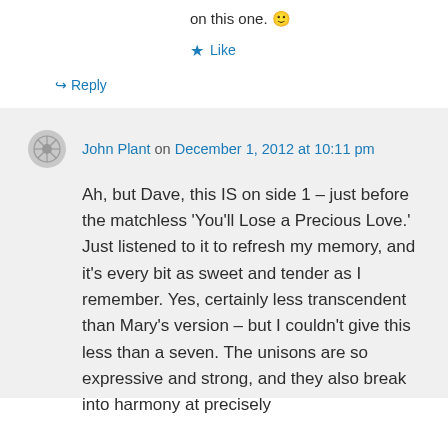on this one. 🙂
★ Like
↪ Reply
John Plant on December 1, 2012 at 10:11 pm
Ah, but Dave, this IS on side 1 – just before the matchless 'You'll Lose a Precious Love.' Just listened to it to refresh my memory, and it's every bit as sweet and tender as I remember. Yes, certainly less transcendent than Mary's version – but I couldn't give this less than a seven. The unisons are so expressive and strong, and they also break into harmony at precisely